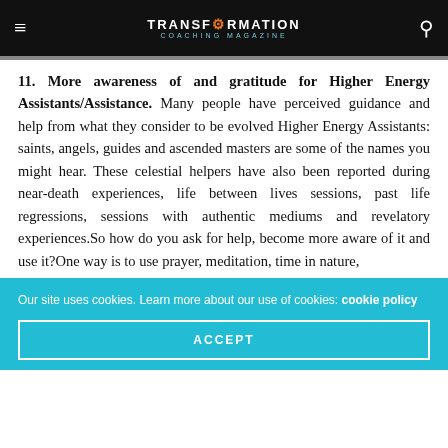TRANSFORMATION COACHING MAGAZINE
11. More awareness of and gratitude for Higher Energy Assistants/Assistance. Many people have perceived guidance and help from what they consider to be evolved Higher Energy Assistants: saints, angels, guides and ascended masters are some of the names you might hear. These celestial helpers have also been reported during near-death experiences, life between lives sessions, past life regressions, sessions with authentic mediums and revelatory experiences.So how do you ask for help, become more aware of it and use it?One way is to use prayer, meditation, time in nature,
Our site uses cookies. Learn more about our use of cookies: cookie policy
ACCEPT